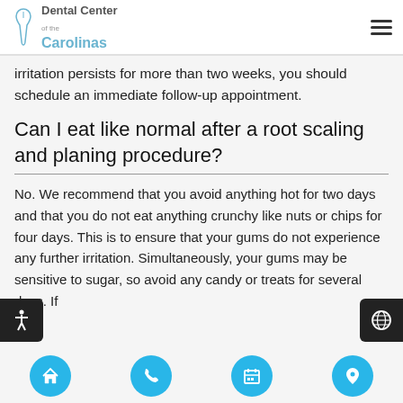Dental Center of the Carolinas
irritation persists for more than two weeks, you should schedule an immediate follow-up appointment.
Can I eat like normal after a root scaling and planing procedure?
No. We recommend that you avoid anything hot for two days and that you do not eat anything crunchy like nuts or chips for four days. This is to ensure that your gums do not experience any further irritation. Simultaneously, your gums may be sensitive to sugar, so avoid any candy or treats for several days. If
Navigation: Home, Phone, Calendar, Location